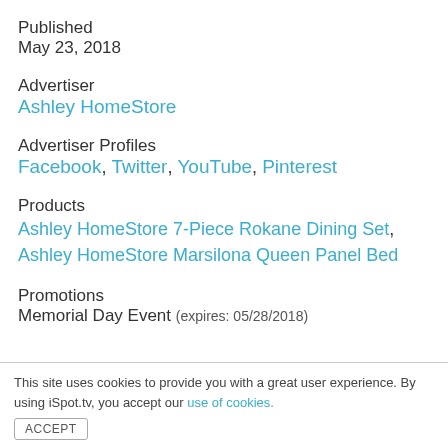Published
May 23, 2018
Advertiser
Ashley HomeStore
Advertiser Profiles
Facebook, Twitter, YouTube, Pinterest
Products
Ashley HomeStore 7-Piece Rokane Dining Set, Ashley HomeStore Marsilona Queen Panel Bed
Promotions
Memorial Day Event (expires: 05/28/2018)
This site uses cookies to provide you with a great user experience. By using iSpot.tv, you accept our use of cookies.
ACCEPT